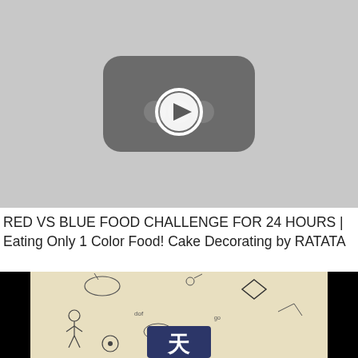[Figure (screenshot): YouTube-style video placeholder thumbnail with a dark rounded rectangle and a play button circle in the center, on a light gray background.]
RED VS BLUE FOOD CHALLENGE FOR 24 HOURS | Eating Only 1 Color Food! Cake Decorating by RATATA
[Figure (screenshot): Second video thumbnail showing a beige/cream illustrated background with cartoon doodle characters, black side bars, and a dark navy logo in the center bottom.]